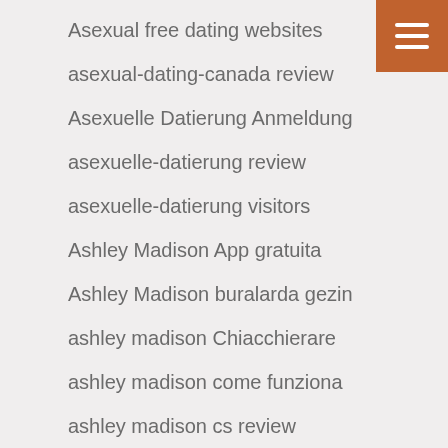Asexual free dating websites
asexual-dating-canada review
Asexuelle Datierung Anmeldung
asexuelle-datierung review
asexuelle-datierung visitors
Ashley Madison App gratuita
Ashley Madison buralarda gezin
ashley madison Chiacchierare
ashley madison come funziona
ashley madison cs review
ashley madison dating
Ashley Madison hookup websites
Ashley Madison how to start dating